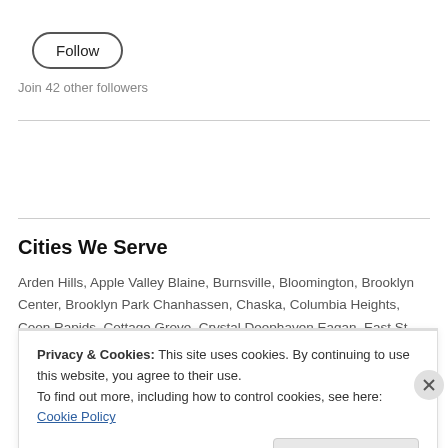[Figure (other): Follow button — rounded pill-shaped button with border and label 'Follow']
Join 42 other followers
Cities We Serve
Arden Hills, Apple Valley Blaine, Burnsville, Bloomington, Brooklyn Center, Brooklyn Park Chanhassen, Chaska, Columbia Heights, Coon Rapids, Cottage Grove, Crystal Deephaven Eagan, East St. Paul, Eden
Privacy & Cookies: This site uses cookies. By continuing to use this website, you agree to their use.
To find out more, including how to control cookies, see here: Cookie Policy
Close and accept